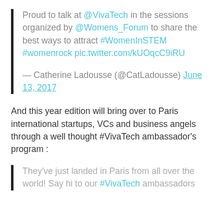Proud to talk at @VivaTech in the sessions organized by @Womens_Forum to share the best ways to attract #WomenInSTEM #womenrock pic.twitter.com/kUOqcC9iRU
— Catherine Ladousse (@CatLadousse) June 13, 2017
And this year edition will bring over to Paris international startups, VCs and business angels through a well thought #VivaTech ambassador's program :
They've just landed in Paris from all over the world! Say hi to our #VivaTech ambassadors